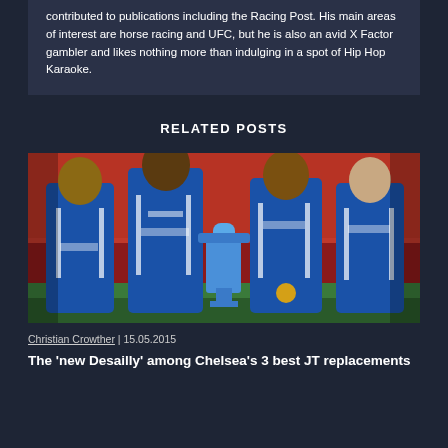contributed to publications including the Racing Post. His main areas of interest are horse racing and UFC, but he is also an avid X Factor gambler and likes nothing more than indulging in a spot of Hip Hop Karaoke.
RELATED POSTS
[Figure (photo): Four Chelsea FC players in blue Samsung jerseys posing with a trophy, celebrating a cup win at what appears to be Wembley Stadium with red seats visible in background.]
Christian Crowther | 15.05.2015
The 'new Desailly' among Chelsea's 3 best JT replacements